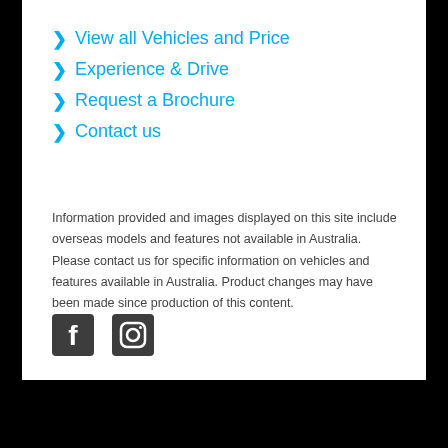View all Vehicles and Price
Experience & Drive
Request a Brochure
Contact us
Information provided and images displayed on this site include overseas models and features not available in Australia. Please contact us for specific information on vehicles and features available in Australia. Product changes may have been made since production of this content.
[Figure (logo): Facebook and Instagram social media icons]